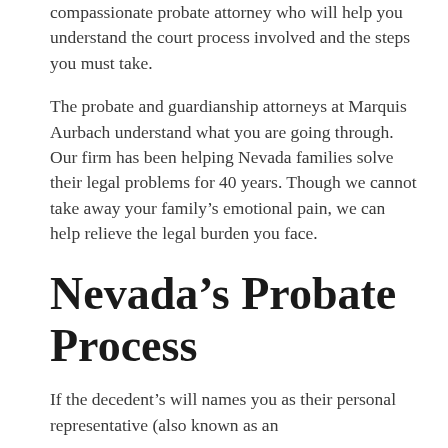compassionate probate attorney who will help you understand the court process involved and the steps you must take.
The probate and guardianship attorneys at Marquis Aurbach understand what you are going through. Our firm has been helping Nevada families solve their legal problems for 40 years. Though we cannot take away your family's emotional pain, we can help relieve the legal burden you face.
Nevada's Probate Process
If the decedent's will names you as their personal representative (also known as an